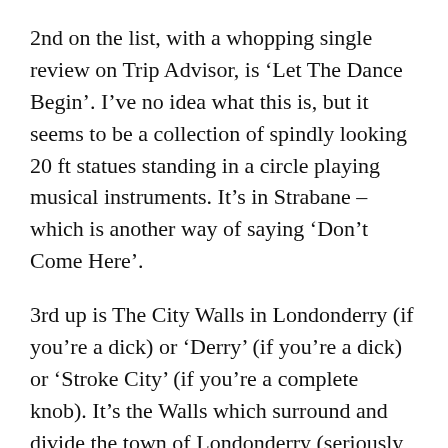2nd on the list, with a whopping single review on Trip Advisor, is ‘Let The Dance Begin’. I’ve no idea what this is, but it seems to be a collection of spindly looking 20 ft statues standing in a circle playing musical instruments. It’s in Strabane – which is another way of saying ‘Don’t Come Here’.
3rd up is The City Walls in Londonderry (if you’re a dick) or ‘Derry’ (if you’re a dick) or ‘Stroke City’ (if you’re a complete knob). It’s the Walls which surround and divide the town of Londonderry (seriously, it’s not a city – Belfast is the only place worthy of that name in Northern Ireland), and you can walk on top of them, around them, through them etc. Every so often there’s a more interesting piece of brick – a church, or a cannon, or a monument – something more than ‘Paddy Woz Here, 1916